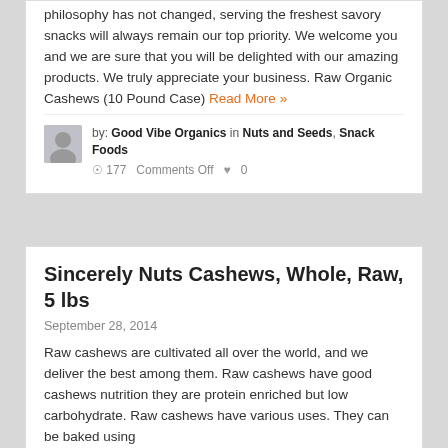philosophy has not changed, serving the freshest savory snacks will always remain our top priority. We welcome you and we are sure that you will be delighted with our amazing products. We truly appreciate your business. Raw Organic Cashews (10 Pound Case) Read More »
by: Good Vibe Organics in Nuts and Seeds, Snack Foods
177   Comments Off  ♥ 0
Sincerely Nuts Cashews, Whole, Raw, 5 lbs
September 28, 2014
Raw cashews are cultivated all over the world, and we deliver the best among them. Raw cashews have good cashews nutrition they are protein enriched but low carbohydrate. Raw cashews have various uses. They can be baked using